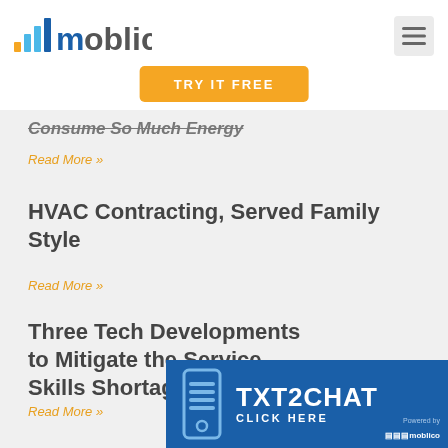[Figure (logo): Moblico logo with signal bar icon and colorful text]
[Figure (other): Hamburger menu button in top right corner]
[Figure (other): Orange TRY IT FREE button]
Consume So Much Energy
Read More »
HVAC Contracting, Served Family Style
Read More »
Three Tech Developments to Mitigate the Service Skills Shortage
Read More »
[Figure (infographic): TXT2CHAT blue banner with phone icon. Text: TXT2CHAT CLICK HERE Powered by moblico]